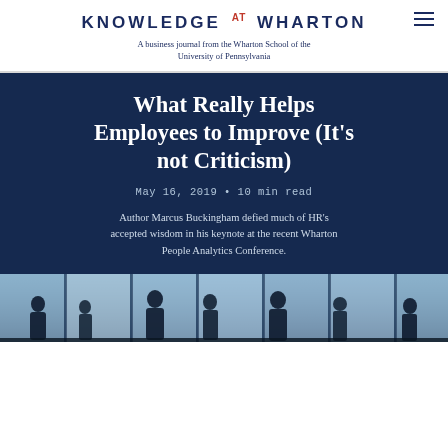KNOWLEDGE AT WHARTON
A business journal from the Wharton School of the University of Pennsylvania
What Really Helps Employees to Improve (It’s not Criticism)
May 16, 2019 • 10 min read
Author Marcus Buckingham defied much of HR’s accepted wisdom in his keynote at the recent Wharton People Analytics Conference.
[Figure (photo): Silhouetted figures of people standing in an office or conference space with bright windows behind them, shown in a dark blue tone.]